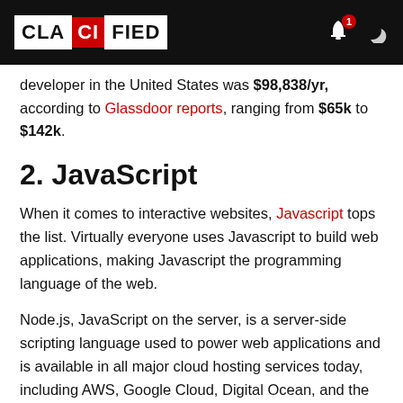CLACIFIED
developer in the United States was $98,838/yr, according to Glassdoor reports, ranging from $65k to $142k.
2. JavaScript
When it comes to interactive websites, Javascript tops the list. Virtually everyone uses Javascript to build web applications, making Javascript the programming language of the web.
Node.js, JavaScript on the server, is a server-side scripting language used to power web applications and is available in all major cloud hosting services today, including AWS, Google Cloud, Digital Ocean, and the likes.